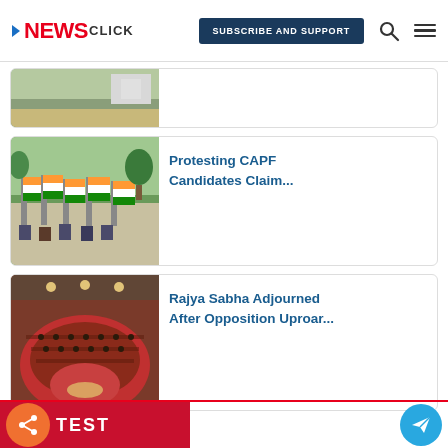NewsClick — SUBSCRIBE AND SUPPORT
[Figure (photo): Partially visible top news card image - road/building scene]
[Figure (photo): People sitting along a road holding Indian tricolor flags - CAPF candidates protest]
Protesting CAPF Candidates Claim...
[Figure (photo): Aerial view of Rajya Sabha parliament hall with red carpet and semicircular seating]
Rajya Sabha Adjourned After Opposition Uproar...
[Figure (infographic): Share icon with TEST label and Telegram button]